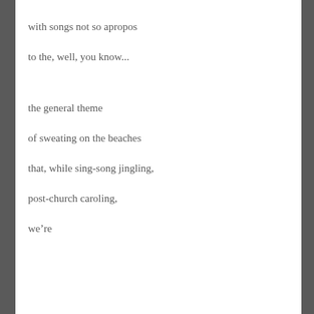with songs not so apropos
to the, well, you know...
the general theme
of sweating on the beaches
that, while sing-song jingling,
post-church caroling,
we're